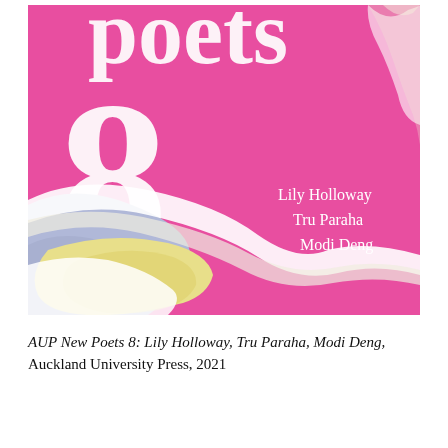[Figure (illustration): Book cover of AUP New Poets 8. Hot pink background with large white serif text showing 'poets' at top and '8' in the centre-left. Torn paper collage elements in blue, yellow and white sweep diagonally across the lower half. Three author names in white text on the right: Lily Holloway, Tru Paraha, Modi Deng.]
AUP New Poets 8: Lily Holloway, Tru Paraha, Modi Deng, Auckland University Press, 2021